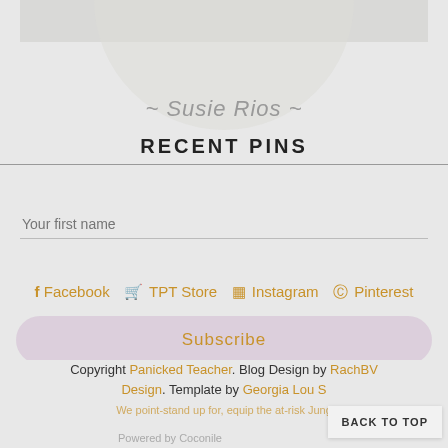[Figure (illustration): Partial view of a circular profile badge with 'TEACHER' text overlay and a rectangle image bar at top. Circle fades into page background.]
~ Susie Rios ~
RECENT PINS
Your first name
f Facebook  🛒 TPT Store  ☷ Instagram  ⊕ Pinterest
Subscribe
Copyright Panicked Teacher. Blog Design by RachBV Design. Template by Georgia Lou S...
BACK TO TOP
Powered by Coconile